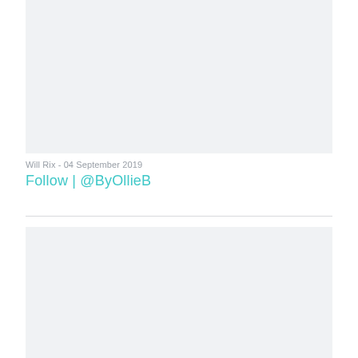[Figure (photo): Light gray placeholder image block at the top of the page]
Will Rix - 04 September 2019
Follow | @ByOllieB
[Figure (photo): Light gray placeholder image block at the bottom of the page]